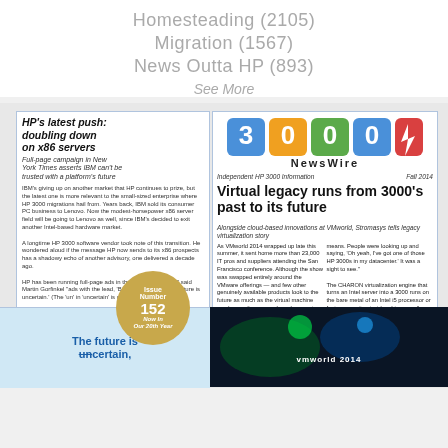Homesteading (2105)
Migration (1567)
News Outta HP (893)
See More
[Figure (screenshot): Newspaper front page: HP's latest push: doubling down on x86 servers. Full-page campaign in New York Times asserts IBM can't be trusted with a platform's future.]
[Figure (screenshot): 3000 NewsWire logo and front page: Virtual legacy runs from 3000's past to its future. Independent HP 3000 information, Fall 2014, Issue Number 152, Now in Our 20th Year.]
[Figure (screenshot): The future is un(certain) promotional image with newspaper clippings.]
[Figure (photo): VMworld 2014 conference photo with blue/green stage lighting.]